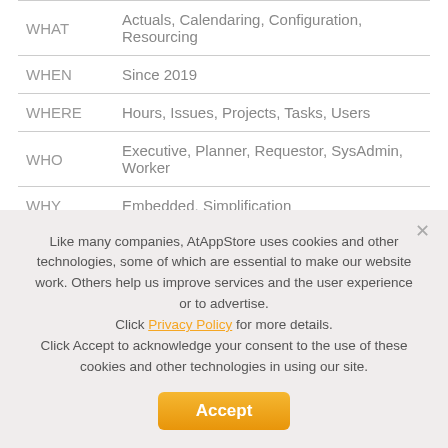| WHAT | Actuals, Calendaring, Configuration, Resourcing |
| WHEN | Since 2019 |
| WHERE | Hours, Issues, Projects, Tasks, Users |
| WHO | Executive, Planner, Requestor, SysAdmin, Worker |
| WHY | Embedded, Simplification |
Like many companies, AtAppStore uses cookies and other technologies, some of which are essential to make our website work. Others help us improve services and the user experience or to advertise. Click Privacy Policy for more details. Click Accept to acknowledge your consent to the use of these cookies and other technologies in using our site.